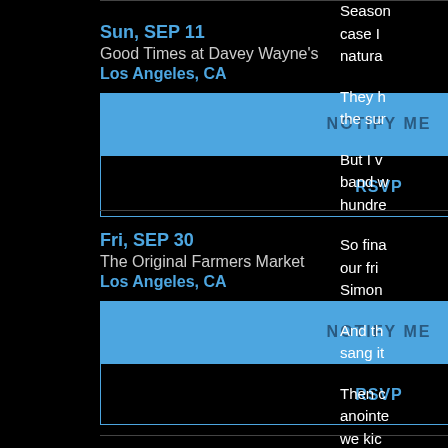Sun, SEP 11
Good Times at Davey Wayne's
Los Angeles, CA
NOTIFY ME
RSVP
Fri, SEP 30
The Original Farmers Market
Los Angeles, CA
NOTIFY ME
RSVP
Season
case I
natura
They h
the sur
But I v
band w
hundre
So fina
our fri
Simon
And th
sang it
Then c
anointe
we kic
But as